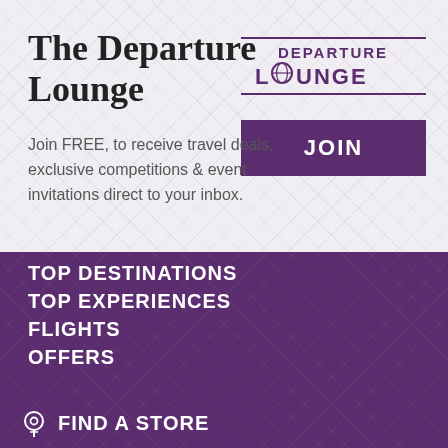The Departure Lounge
[Figure (logo): Departure Lounge logo with globe icon replacing the O in LOUNGE, bordered by two horizontal lines]
Join FREE, to receive travel deals, exclusive competitions & event invitations direct to your inbox.
JOIN
TOP DESTINATIONS
TOP EXPERIENCES
FLIGHTS
OFFERS
FIND A STORE